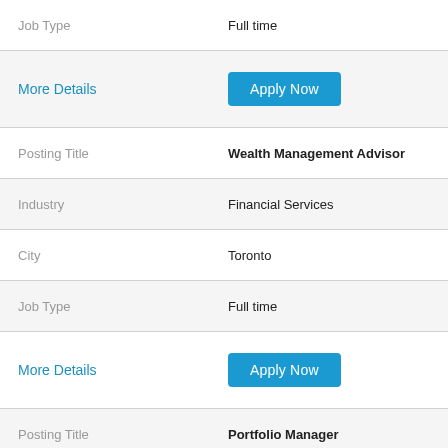| Field | Value |
| --- | --- |
| Job Type | Full time |
| More Details | Apply Now |
| Posting Title | Wealth Management Advisor |
| Industry | Financial Services |
| City | Toronto |
| Job Type | Full time |
| More Details | Apply Now |
| Posting Title | Portfolio Manager |
| Industry | Financial Services |
| City | Tampa |
| Job Type | Full time |